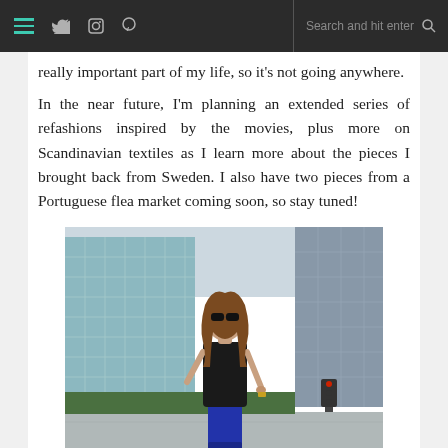[navigation bar with hamburger menu, Twitter, Instagram, Pinterest icons, search bar]
really important part of my life, so it’s not going anywhere.
In the near future, I’m planning an extended series of refashions inspired by the movies, plus more on Scandinavian textiles as I learn more about the pieces I brought back from Sweden. I also have two pieces from a Portuguese flea market coming soon, so stay tuned!
[Figure (photo): Woman wearing black short-sleeve top and blue skirt, sunglasses, standing outdoors in front of modern glass office buildings]